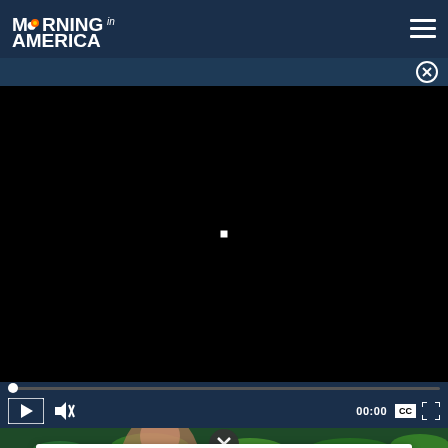MORNING in AMERICA
[Figure (screenshot): Video player with black screen, progress bar at start (00:00), play button, mute button, CC button, fullscreen button, and video controls on dark navy background]
[Figure (photo): Grocery store produce section with a woman visible, partially obscured by ad overlay]
Sterling OPEN 9AM–8PM 22000 Dulles Retail Plaza, #110, S...